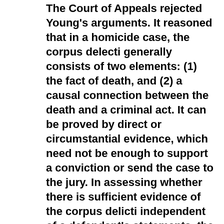The Court of Appeals rejected Young's arguments. It reasoned that in a homicide case, the corpus delecti generally consists of two elements: (1) the fact of death, and (2) a causal connection between the death and a criminal act. It can be proved by direct or circumstantial evidence, which need not be enough to support a conviction or send the case to the jury. In assessing whether there is sufficient evidence of the corpus delicti independent of a defendant's statements, the Court assumes the truth of the State's evidence and all reasonable inferences from it in a light most favorable to the State.
Here, the corpus of the crime of murder was amply established by (1) a dead person; (2) multiple gunshot wounds that established a casual connection with a criminal act; (3) testimony eliminating the possibility of self-inflicted wounds;